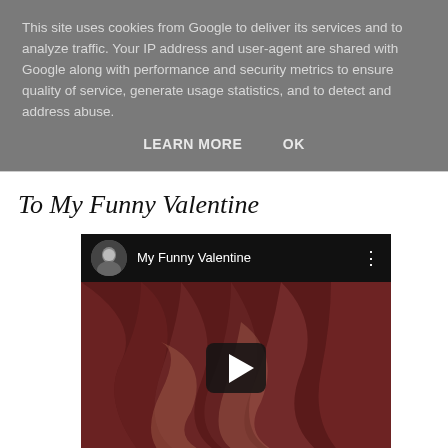This site uses cookies from Google to deliver its services and to analyze traffic. Your IP address and user-agent are shared with Google along with performance and security metrics to ensure quality of service, generate usage statistics, and to detect and address abuse.
LEARN MORE    OK
To My Funny Valentine
[Figure (screenshot): Embedded YouTube video player showing 'My Funny Valentine' with a dark header bar containing a circular avatar photo of a woman and the video title, a brownish-red thumbnail image, and a play button in the center.]